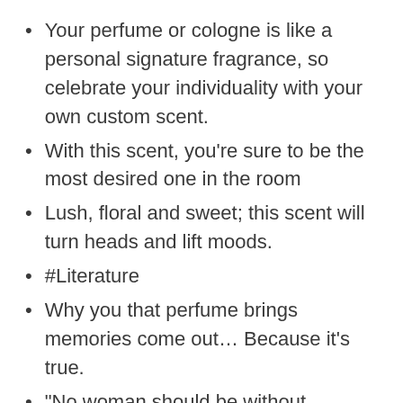Your perfume or cologne is like a personal signature fragrance, so celebrate your individuality with your own custom scent.
With this scent, you’re sure to be the most desired one in the room
Lush, floral and sweet; this scent will turn heads and lift moods.
#Literature
Why you that perfume brings memories come out… Because it’s true.
“No woman should be without perfume. A woman without perfume is a woman who isn’t appreciated.” -Marilyn Monroe
Let’s get lost together… From Paris 🇫🇷 to